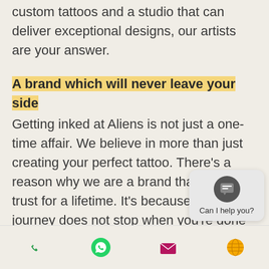custom tattoos and a studio that can deliver exceptional designs, our artists are your answer.
A brand which will never leave your side
Getting inked at Aliens is not just a one-time affair. We believe in more than just creating your perfect tattoo. There's a reason why we are a brand that you can trust for a lifetime. It's because the journey does not stop when you're done with your tattoo. Aliens Tattoo believes in creating memories that we can cherish forever.
Navigation bar with phone, WhatsApp, email, and globe icons. Chat widget: Can I help you?